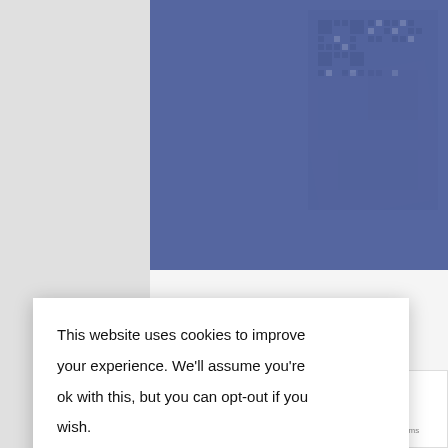[Figure (screenshot): Blue/purple hero image with QR code pattern visible in the upper right area of the page]
Event Tech   Events   Tools for Events
How to create a smooth event registration &
This website uses cookies to improve your experience. We'll assume you're ok with this, but you can opt-out if you wish.
Cookie settings
ACCEPT